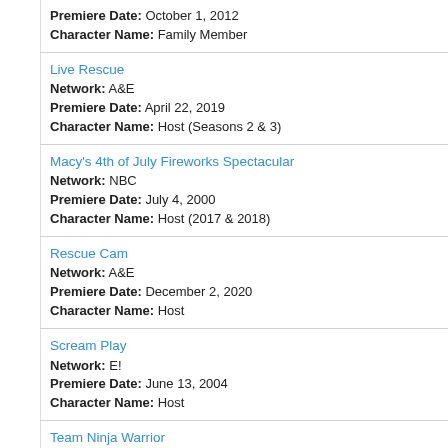Premiere Date: October 1, 2012
Character Name: Family Member
Live Rescue
Network: A&E
Premiere Date: April 22, 2019
Character Name: Host (Seasons 2 & 3)
Macy's 4th of July Fireworks Spectacular
Network: NBC
Premiere Date: July 4, 2000
Character Name: Host (2017 & 2018)
Rescue Cam
Network: A&E
Premiere Date: December 2, 2020
Character Name: Host
Scream Play
Network: E!
Premiere Date: June 13, 2004
Character Name: Host
Team Ninja Warrior
Network: Esquire
Premiere Date: January 19, 2016
Character Name: Host
Team Ninja Warrior: College Madness
Network: Esquire
Premiere Date: November 22, 2016
Character Name: Host